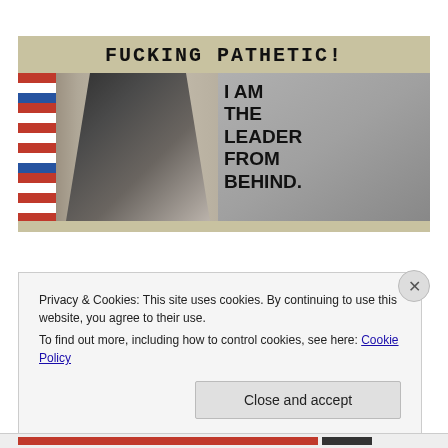[Figure (photo): Political meme image with tan/beige header reading 'FUCKING PATHETIC!' in bold monospace font, left half shows a man in dark suit speaking at podium with American flag, right half shows text 'I AM THE LEADER FROM BEHIND.' in bold black letters over gray background with a caricature figure pointing.]
Privacy & Cookies: This site uses cookies. By continuing to use this website, you agree to their use.
To find out more, including how to control cookies, see here: Cookie Policy
Close and accept